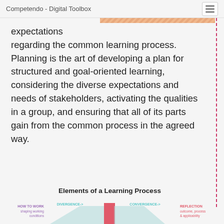Competendo - Digital Toolbox
expectations regarding the common learning process. Planning is the art of developing a plan for structured and goal-oriented learning, considering the diverse expectations and needs of stakeholders, activating the qualities in a group, and ensuring that all of its parts gain from the common process in the agreed way.
Elements of a Learning Process
[Figure (infographic): Bottom portion of an infographic titled 'Elements of a Learning Process' showing four columns: 'HOW TO WORK - shaping working conditions' (purple), 'DIVERGENCE->' (teal, with arrow), a central bar chart element in pink/red, 'CONVERGENCE->' (teal, with arrow), and 'REFLECTION - outcome, process & applicability' (red/pink).]